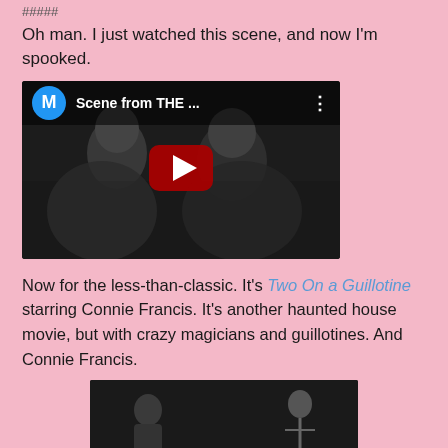#####
Oh man. I just watched this scene, and now I'm spooked.
[Figure (screenshot): YouTube video thumbnail showing two women in a black-and-white film still, with a YouTube play button overlay and video bar at top showing avatar 'M', title 'Scene from THE ...', and a three-dot menu icon]
Now for the less-than-classic. It's Two On a Guillotine starring Connie Francis. It's another haunted house movie, but with crazy magicians and guillotines. And Connie Francis.
[Figure (screenshot): Black and white movie still showing two figures and a skeleton]